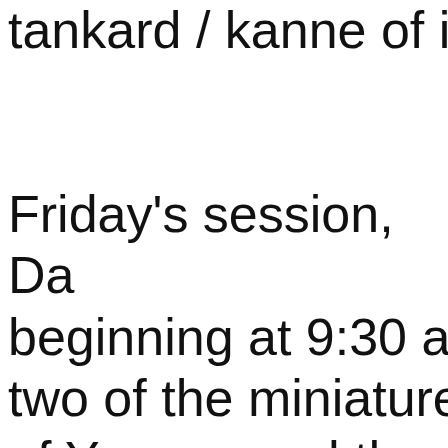tankard / kanne of ir

Friday's session, Da beginning at 9:30 ar two of the miniature of Yvonne and the la Lincoln, DE; part tw lamp collection of C Bristol, CT; material